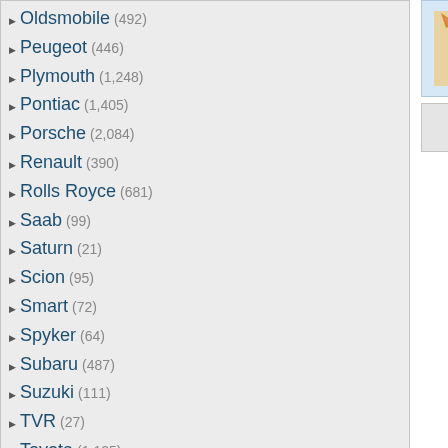Oldsmobile (492)
Peugeot (446)
Plymouth (1,248)
Pontiac (1,405)
Porsche (2,084)
Renault (390)
Rolls Royce (681)
Saab (99)
Saturn (21)
Scion (95)
Smart (72)
Spyker (64)
Subaru (487)
Suzuki (111)
TVR (27)
Toyota (1,125)
Volkswagen (1,389)
Volvo (383)
Other (17,087)
Downloads: 640,129,772
Car Walls: 73,292
All Wallpapers: 1,696,349
Tag Count: 9,948,936
Comments: 1,959,854
Members: 1,565,068
Votes: 12,971,712
5,924 Users Online
103 members, 5,821 guests
AlvaradoSulwen, Anderlecht, artinconstruction, Astro
Posted by Applebloom on 09/17/12 at 0
Very interesting truck... +1f
View All Co